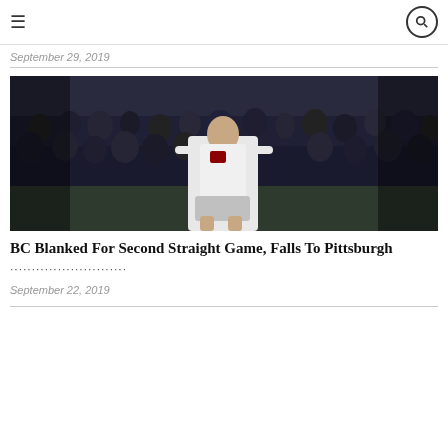≡  🔍
September 29, 2019
[Figure (photo): A soccer player wearing a white uniform with a red logo, standing on a field with spectators in the background at night.]
BC Blanked For Second Straight Game, Falls To Pittsburgh
September 22, 2019